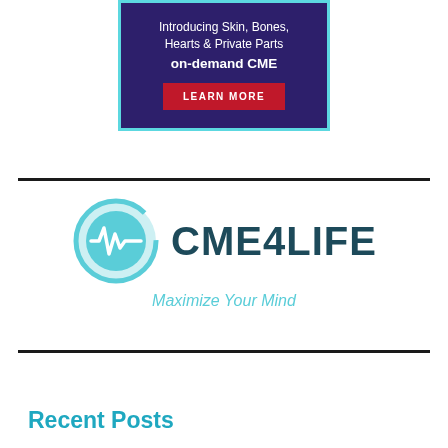[Figure (illustration): Advertisement banner for 'Skin, Bones, Hearts & Private Parts on-demand CME' with dark purple background, teal border, and red 'LEARN MORE' button]
[Figure (logo): CME4LIFE logo with teal circular heartbeat icon and text 'CME4LIFE' in dark teal with tagline 'Maximize Your Mind' in light teal]
Recent Posts